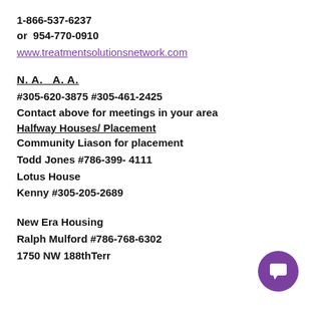1-866-537-6237
or  954-770-0910
www.treatmentsolutionsnetwork.com
N. A.    A. A.
#305-620-3875 #305-461-2425
Contact above for meetings in your area
Halfway Houses/ Placement
Community Liason for placement
Todd Jones #786-399- 4111
Lotus House
Kenny #305-205-2689
New Era Housing
Ralph Mulford #786-768-6302
1750 NW 188thTerr